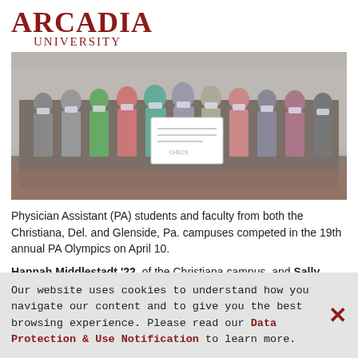ARCADIA UNIVERSITY
[Figure (photo): Group photo of Physician Assistant (PA) students and faculty wearing masks, standing outdoors on a brick plaza. One person in the center holds a large white sign/check. Students are wearing various colored clothing. Buildings visible in background.]
Physician Assistant (PA) students and faculty from both the Christiana, Del. and Glenside, Pa. campuses competed in the 19th annual PA Olympics on April 10.
Hannah Middlestadt '22, of the Christiana campus, and Sally Anderson '22, of the Glenside campus, served as student
Our website uses cookies to understand how you navigate our content and to give you the best browsing experience. Please read our Data Protection & Use Notification to learn more.